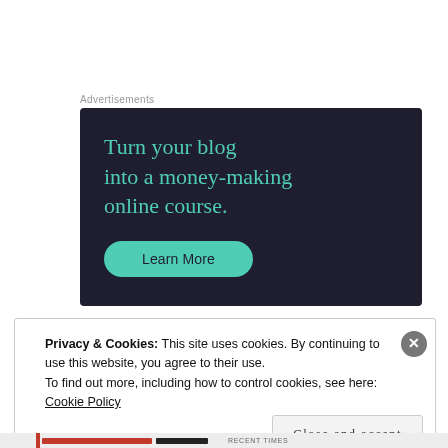Advertisements
[Figure (infographic): Dark navy advertisement box with teal heading text reading 'Turn your blog into a money-making online course.' and a teal rounded 'Learn More' button.]
Privacy & Cookies: This site uses cookies. By continuing to use this website, you agree to their use.
To find out more, including how to control cookies, see here:
Cookie Policy
Close and accept